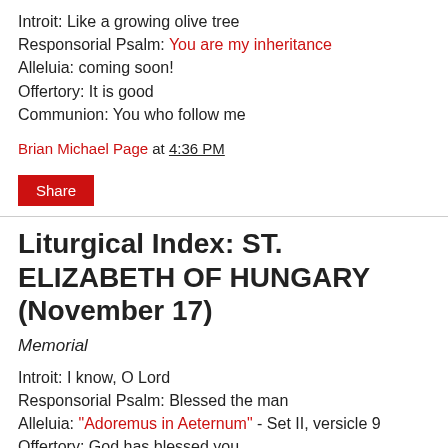Introit: Like a growing olive tree
Responsorial Psalm: You are my inheritance
Alleluia: coming soon!
Offertory: It is good
Communion: You who follow me
Brian Michael Page at 4:36 PM
Share
Liturgical Index: ST. ELIZABETH OF HUNGARY (November 17)
Memorial
Introit: I know, O Lord
Responsorial Psalm: Blessed the man
Alleluia: "Adoremus in Aeternum" - Set II, versicle 9
Offertory: God has blessed you
Communion: You have loved justice